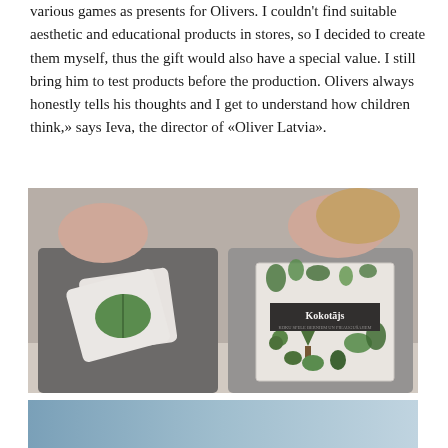various games as presents for Olivers. I couldn't find suitable aesthetic and educational products in stores, so I decided to create them myself, thus the gift would also have a special value. I still bring him to test products before the production. Olivers always honestly tells his thoughts and I get to understand how children think,» says Ieva, the director of «Oliver Latvia».
[Figure (photo): Two children holding botanical nature educational products — flash cards with leaf illustrations (left child in grey sweater) and a book titled 'Kokotājs' decorated with illustrated trees, leaves, chestnuts and other botanical elements (right child in grey t-shirt).]
[Figure (photo): Partial view of another photo at the bottom of the page, showing a light blue/grey background, appears to be another product or scene.]